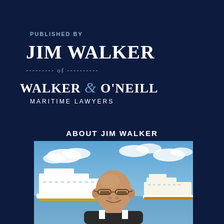PUBLISHED BY
JIM WALKER
--------- of ----------
WALKER & O'NEILL MARITIME LAWYERS
ABOUT JIM WALKER
[Figure (photo): Photo of Jim Walker, a bald man wearing glasses and a suit, smiling, with cruise ships visible in the background under a blue sky with clouds.]